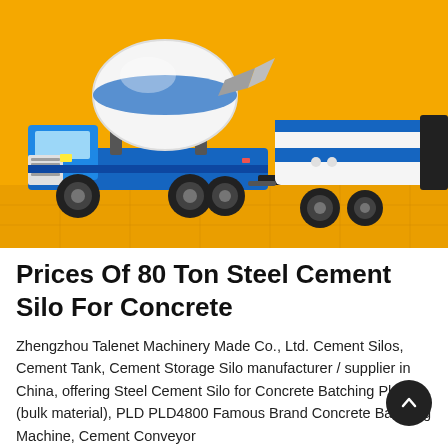[Figure (photo): Concrete mixer truck with a blue and white drum mounted on a blue chassis, next to a white and blue concrete pump trailer, both on a yellow-orange background with a tiled floor.]
Prices Of 80 Ton Steel Cement Silo For Concrete
Zhengzhou Talenet Machinery Made Co., Ltd. Cement Silos, Cement Tank, Cement Storage Silo manufacturer / supplier in China, offering Steel Cement Silo for Concrete Batching Plant (bulk material), PLD PLD4800 Famous Brand Concrete Batching Machine, Cement Conveyor